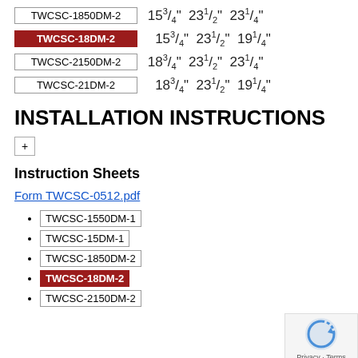TWCSC-1850DM-2  15 3/4"  23 1/2"  23 1/4"
TWCSC-18DM-2  15 3/4"  23 1/2"  19 1/4"
TWCSC-2150DM-2  18 3/4"  23 1/2"  23 1/4"
TWCSC-21DM-2  18 3/4"  23 1/2"  19 1/4"
INSTALLATION INSTRUCTIONS
+
Instruction Sheets
Form TWCSC-0512.pdf
TWCSC-1550DM-1
TWCSC-15DM-1
TWCSC-1850DM-2
TWCSC-18DM-2
TWCSC-2150DM-2